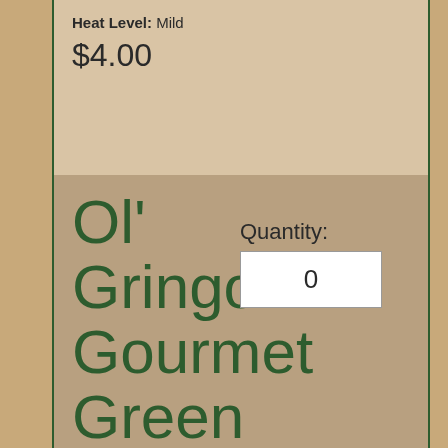Heat Level: Mild
$4.00
Ol' Gringo Gourmet Green Chile Sauce
Heat Level: Medium
$4.00
Ol' Gringo Gourmet Green Chile
Quantity: